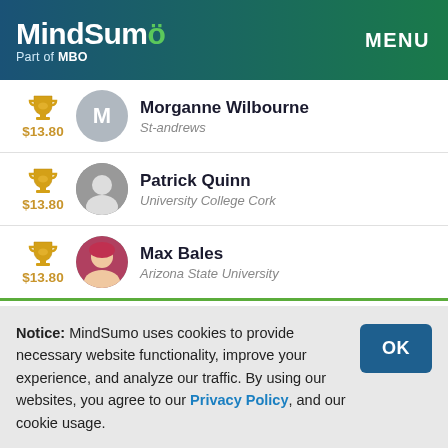MindSumo Part of MBO | MENU
$13.80 Morganne Wilbourne St-andrews
$13.80 Patrick Quinn University College Cork
$13.80 Max Bales Arizona State University
Notice: MindSumo uses cookies to provide necessary website functionality, improve your experience, and analyze our traffic. By using our websites, you agree to our Privacy Policy, and our cookie usage.